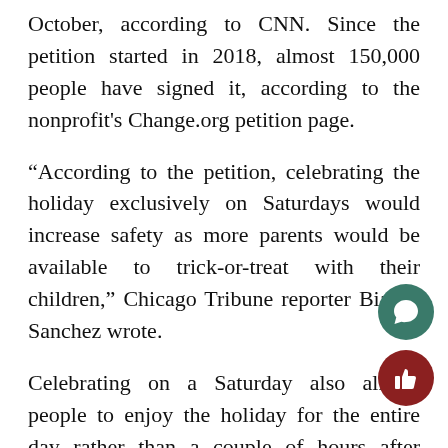October, according to CNN. Since the petition started in 2018, almost 150,000 people have signed it, according to the nonprofit's Change.org petition page.
“According to the petition, celebrating the holiday exclusively on Saturdays would increase safety as more parents would be available to trick-or-treat with their children,” Chicago Tribune reporter Bianca Sanchez wrote.
Celebrating on a Saturday also allows people to enjoy the holiday for the entire day rather than a couple of hours after school or work.
This change would not only benefit young children and their parents, but high school and college students as well. Even though Hallow calls for costumes, candy and – if you’re lucky